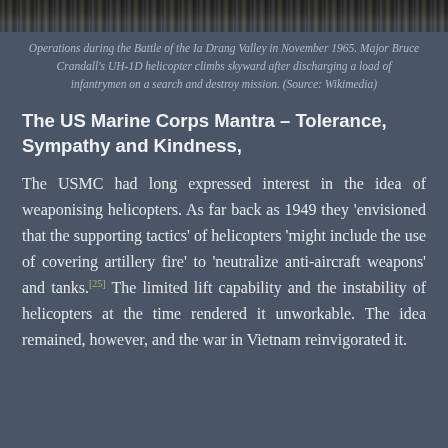[Figure (photo): Black and white photograph showing operations during the Battle of the Ia Drang Valley in November 1965. Major Bruce Crandall's UH-1D helicopter climbs skyward after discharging a load of infantrymen on a search and destroy mission.]
Operations during the Battle of the Ia Drang Valley in November 1965. Major Bruce Crandall's UH-1D helicopter climbs skyward after discharging a load of infantrymen on a search and destroy mission. (Source: Wikimedia)
The US Marine Corps Mantra – Tolerance, Sympathy and Kindness,
The USMC had long expressed interest in the idea of weaponising helicopters. As far back as 1949 they 'envisioned that the supporting tactics' of helicopters 'might include the use of covering artillery fire' to 'neutralize anti-aircraft weapons' and tanks.[25] The limited lift capability and the instability of helicopters at the time rendered it unworkable. The idea remained, however, and the war in Vietnam reinvigorated it.